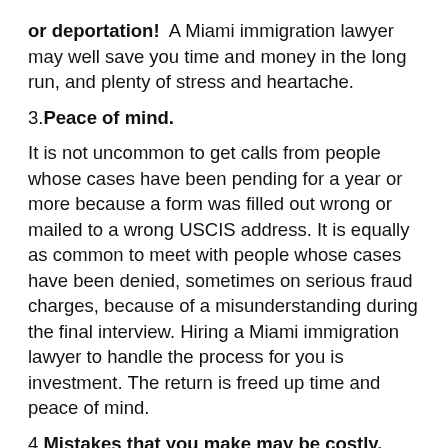or deportation!  A Miami immigration lawyer may well save you time and money in the long run, and plenty of stress and heartache.
3. Peace of mind.
It is not uncommon to get calls from people whose cases have been pending for a year or more because a form was filled out wrong or mailed to a wrong USCIS address. It is equally as common to meet with people whose cases have been denied, sometimes on serious fraud charges, because of a misunderstanding during the final interview. Hiring a Miami immigration lawyer to handle the process for you is investment. The return is freed up time and peace of mind.
4. Mistakes that you make may be costly.
For example, filling out the wrong...